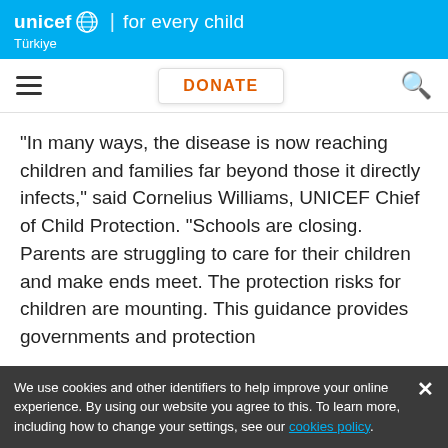unicef for every child | Türkiye
[Figure (screenshot): UNICEF navigation bar with hamburger menu icon, DONATE button in orange, and search icon]
“In many ways, the disease is now reaching children and families far beyond those it directly infects,” said Cornelius Williams, UNICEF Chief of Child Protection. “Schools are closing. Parents are struggling to care for their children and make ends meet. The protection risks for children are mounting. This guidance provides governments and protection
We use cookies and other identifiers to help improve your online experience. By using our website you agree to this. To learn more, including how to change your settings, see our cookies policy.